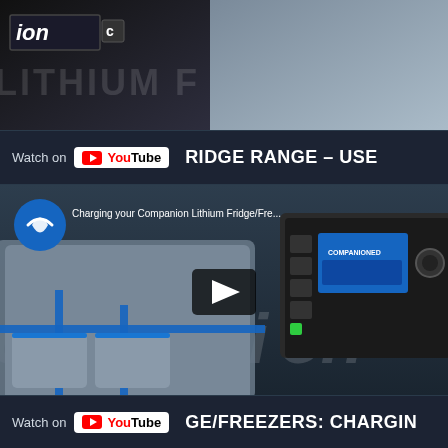[Figure (screenshot): Top strip showing Companion brand logo on dark and gray background with 'LITHIUM FRIDGE RANGE' watermark text]
[Figure (screenshot): YouTube 'Watch on YouTube' bar with title text 'RIDGE RANGE - USE...']
[Figure (screenshot): Video thumbnail for 'Charging your Companion Lithium Fridge/Freezers' showing fridge cover with blue trim and Companion power unit with play button]
[Figure (screenshot): YouTube 'Watch on YouTube' bar with title text 'GE/FREEZERS: CHARGIN...']